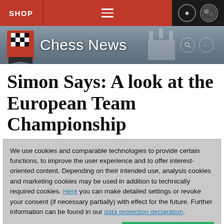SHOP
Chess News
Simon Says: A look at the European Team Championship
We use cookies and comparable technologies to provide certain functions, to improve the user experience and to offer interest-oriented content. Depending on their intended use, analysis cookies and marketing cookies may be used in addition to technically required cookies. Here you can make detailed settings or revoke your consent (if necessary partially) with effect for the future. Further information can be found in our data protection declaration.